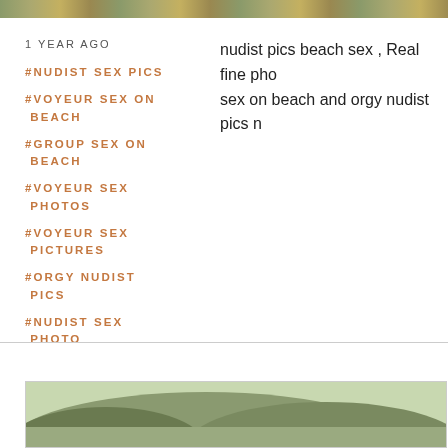[Figure (photo): Top image strip showing outdoor/nature scene]
1 YEAR AGO
#NUDIST SEX PICS
#VOYEUR SEX ON BEACH
#GROUP SEX ON BEACH
#VOYEUR SEX PHOTOS
#VOYEUR SEX PICTURES
#ORGY NUDIST PICS
#NUDIST SEX PHOTO
nudist pics beach sex , Real fine pho sex on beach and orgy nudist pics n
[Figure (photo): Bottom image showing rocky hillside landscape]